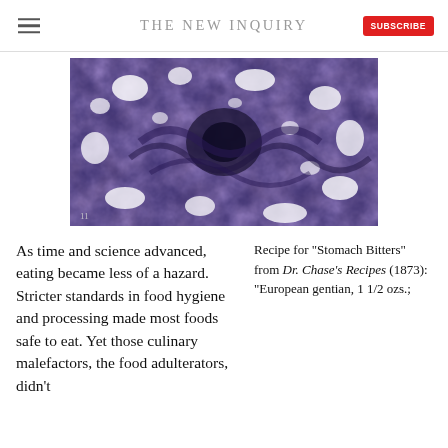THE NEW INQUIRY
[Figure (photo): Microscopic or abstract purple-toned image with dark swirling fibrous tissue and white patches, numbered '11' in bottom-left corner.]
As time and science advanced, eating became less of a hazard. Stricter standards in food hygiene and processing made most foods safe to eat. Yet those culinary malefactors, the food adulterators, didn't
Recipe for "Stomach Bitters" from Dr. Chase's Recipes (1873): "European gentian, 1 1/2 ozs.;